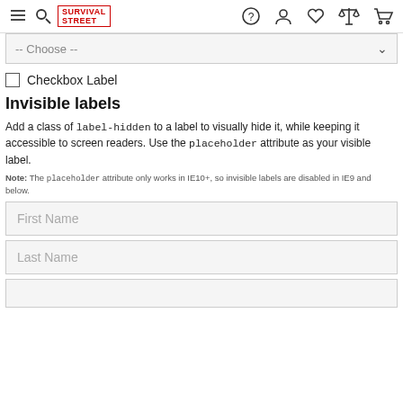[Figure (screenshot): Navigation bar with hamburger/search icon, Survival Street logo in red, and icons for help (circle ?), user, heart/wishlist, scales/compare, and shopping cart]
[Figure (screenshot): Dropdown select field showing '-- Choose --' with chevron arrow on right, gray background]
Checkbox Label
Invisible labels
Add a class of label-hidden to a label to visually hide it, while keeping it accessible to screen readers. Use the placeholder attribute as your visible label.
Note: The placeholder attribute only works in IE10+, so invisible labels are disabled in IE9 and below.
[Figure (screenshot): Text input field with placeholder 'First Name', gray background]
[Figure (screenshot): Text input field with placeholder 'Last Name', gray background]